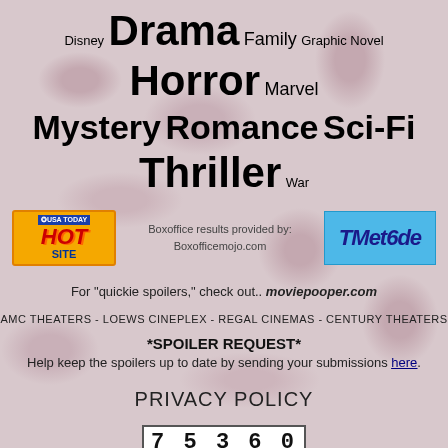Disney Drama Family Graphic Novel Horror Marvel
Mystery Romance Sci-Fi Thriller War
[Figure (logo): USA Today Hot Site badge logo]
Boxoffice results provided by: Boxofficemojo.com
[Figure (logo): TMetode logo badge]
For "quickie spoilers," check out.. moviepooper.com
AMC THEATERS - LOEWS CINEPLEX - REGAL CINEMAS - CENTURY THEATERS
*SPOILER REQUEST*
Help keep the spoilers up to date by sending your submissions here.
PRIVACY POLICY
75360150
[Figure (other): Bravenet Free Counter badge]
[Figure (other): View Site Stats badge]